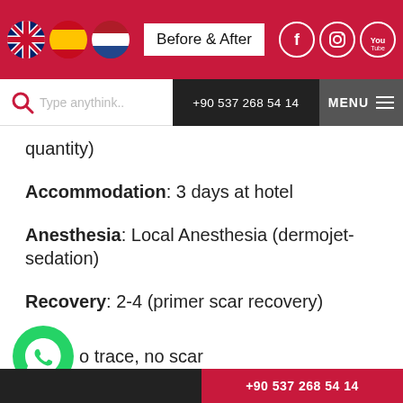[Figure (screenshot): Website header with flag icons (UK, Spain, Netherlands), Before & After button, and social media icons (Facebook, Instagram, YouTube) on a crimson background]
[Figure (screenshot): Navigation bar with search field 'Type anythink..', phone number +90 537 268 54 14, and MENU button]
quantity)
Accommodation: 3 days at hotel
Anesthesia: Local Anesthesia (dermojet-sedation)
Recovery: 2-4 (primer scar recovery)
o trace, no scar
Results: final results 10-14 months
+90 537 268 54 14